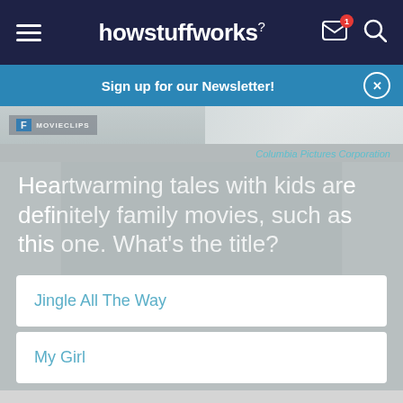howstuffworks
Sign up for our Newsletter!
[Figure (screenshot): Partial image at top of content area with Fandango MovieClips watermark, showing a person in white shirt]
Columbia Pictures Corporation
Heartwarming tales with kids are definitely family movies, such as this one. What’s the title?
Jingle All The Way
My Girl